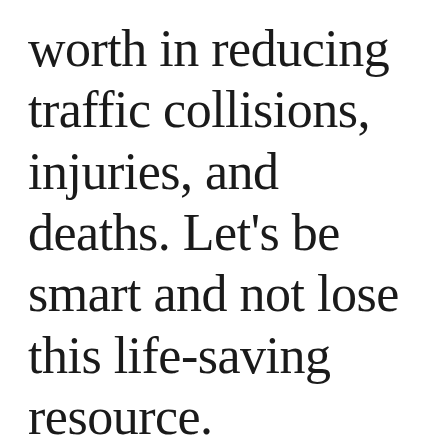worth in reducing traffic collisions, injuries, and deaths. Let's be smart and not lose this life-saving resource.